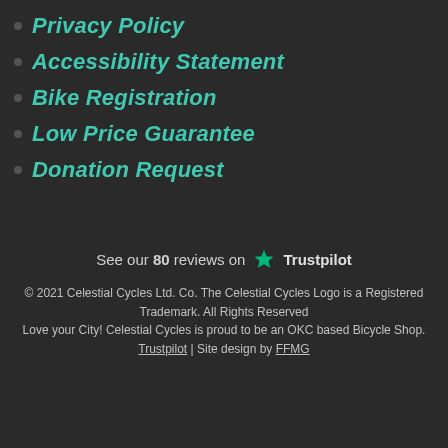Privacy Policy
Accessibility Statement
Bike Registration
Low Price Guarantee
Donation Request
See our 80 reviews on ★ Trustpilot
© 2021 Celestial Cycles Ltd. Co. The Celestial Cycles Logo is a Registered Trademark. All Rights Reserved
Love your City! Celestial Cycles is proud to be an OKC based Bicycle Shop.
Trustpilot | Site design by FFMG